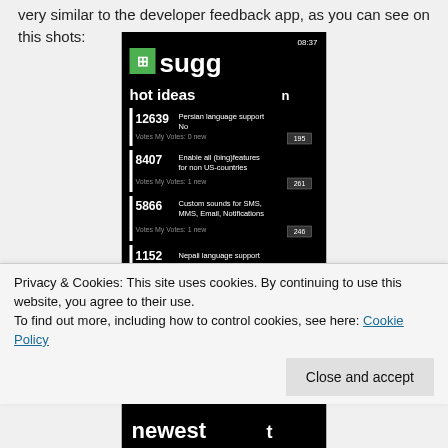very similar to the developer feedback app, as you can see on this shots:
[Figure (screenshot): Windows Phone screenshot showing a suggestions app with 'hot ideas' list. Entries include: 12639 Persian language support, 8407 Enable all (bing)features for non US-countries, 5866 Custom sounds for SMS, MMS, Email, Notifications, 1152 Nepali language support. Time shown: 08:37.]
Privacy & Cookies: This site uses cookies. By continuing to use this website, you agree to their use.
To find out more, including how to control cookies, see here: Cookie Policy
[Figure (screenshot): Bottom portion of a Windows Phone screenshot showing 'newest' tab]